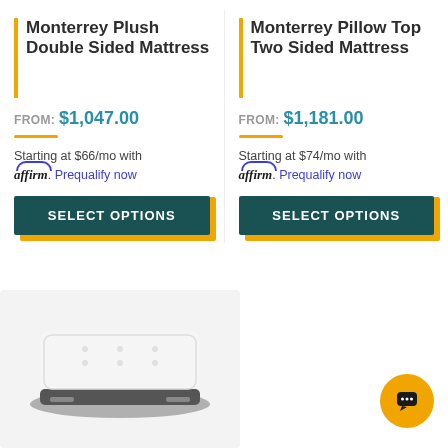Monterrey Plush Double Sided Mattress
FROM: $1,047.00
Starting at $66/mo with affirm. Prequalify now
SELECT OPTIONS
Monterrey Pillow Top Two Sided Mattress
FROM: $1,181.00
Starting at $74/mo with affirm. Prequalify now
SELECT OPTIONS
[Figure (photo): A white and dark gray mattress product photo on light gray background]